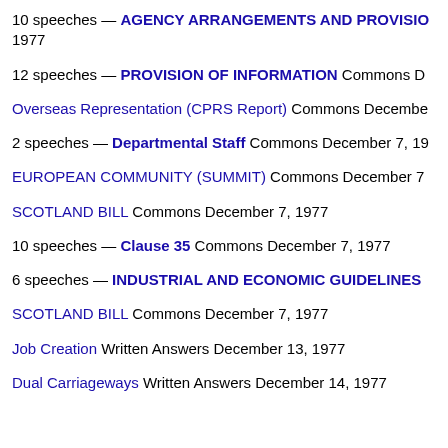10 speeches — AGENCY ARRANGEMENTS AND PROVISIONS 1977
12 speeches — PROVISION OF INFORMATION Commons D...
Overseas Representation (CPRS Report) Commons December...
2 speeches — Departmental Staff Commons December 7, 19...
EUROPEAN COMMUNITY (SUMMIT) Commons December 7...
SCOTLAND BILL Commons December 7, 1977
10 speeches — Clause 35 Commons December 7, 1977
6 speeches — INDUSTRIAL AND ECONOMIC GUIDELINES...
SCOTLAND BILL Commons December 7, 1977
Job Creation Written Answers December 13, 1977
Dual Carriageways Written Answers December 14, 1977